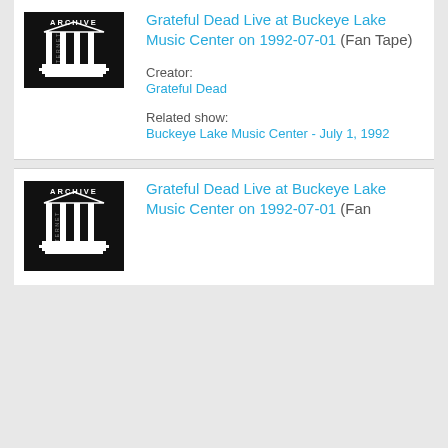[Figure (logo): Internet Archive logo — black background with white Greek temple columns and 'INTERNET ARCHIVE' text]
Grateful Dead Live at Buckeye Lake Music Center on 1992-07-01 (Fan Tape)
Creator:
Grateful Dead
Related show:
Buckeye Lake Music Center - July 1, 1992
[Figure (logo): Internet Archive logo — black background with white Greek temple columns and 'INTERNET ARCHIVE' text]
Grateful Dead Live at Buckeye Lake Music Center on 1992-07-01 (Fan